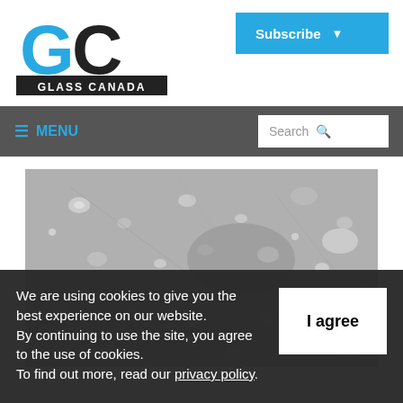[Figure (logo): Glass Canada logo with GC letters in blue and black and 'GLASS CANADA' text below]
[Figure (other): Blue Subscribe button with dropdown arrow]
≡ MENU   Search 🔍
[Figure (photo): Close-up black and white photograph of glass surface showing water droplets and imperfections]
We are using cookies to give you the best experience on our website.
By continuing to use the site, you agree to the use of cookies.
To find out more, read our privacy policy.
[Figure (other): I agree button in white box]